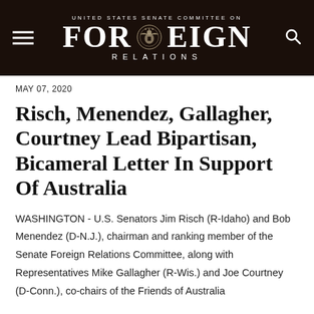UNITED STATES SENATE COMMITTEE ON FOREIGN RELATIONS
MAY 07, 2020
Risch, Menendez, Gallagher, Courtney Lead Bipartisan, Bicameral Letter In Support Of Australia
WASHINGTON - U.S. Senators Jim Risch (R-Idaho) and Bob Menendez (D-N.J.), chairman and ranking member of the Senate Foreign Relations Committee, along with Representatives Mike Gallagher (R-Wis.) and Joe Courtney (D-Conn.), co-chairs of the Friends of Australia